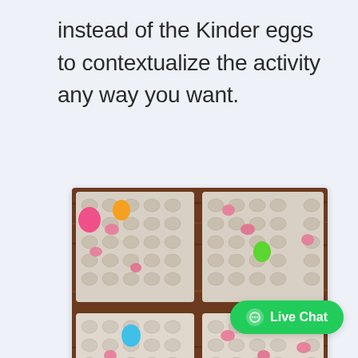instead of the Kinder eggs to contextualize the activity any way you want.
[Figure (photo): Overhead view of four egg cartons arranged in a 2x2 grid on a wooden table, containing colorful plastic eggs (pink, orange, green, blue, orange) and crumpled pink paper pieces scattered in the egg cup slots.]